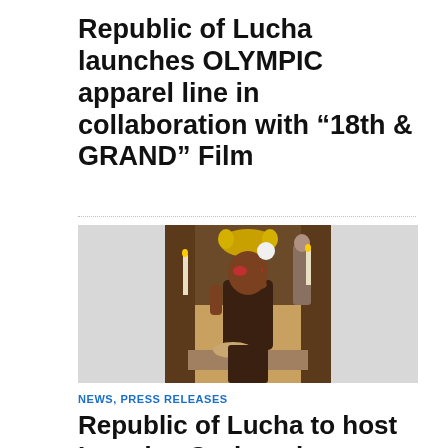Republic of Lucha launches OLYMPIC apparel line in collaboration with “18th & GRAND” Film
[Figure (photo): A masked wrestler or performer wearing a crown in an ornate church or decorated interior setting, holding up an object, with religious statues and candles in the background.]
NEWS, PRESS RELEASES
Republic of Lucha to host Lourdes Grobet photo exhibition